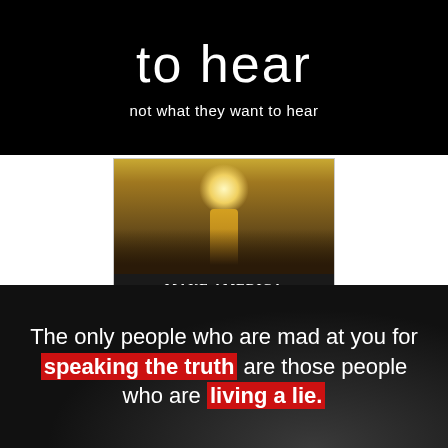[Figure (photo): Black background motivational image with large white text 'to hear' and subtitle 'not what they want to hear']
[Figure (photo): Painting of a religious figure (Jesus) standing before a crowd with government buildings, captioned 'MAKE AMERICA HOLY AGAIN']
[Figure (photo): Dark background motivational quote: 'The only people who are mad at you for speaking the truth are those people who are living a lie.' with red highlights on 'speaking the truth' and 'living a lie.']